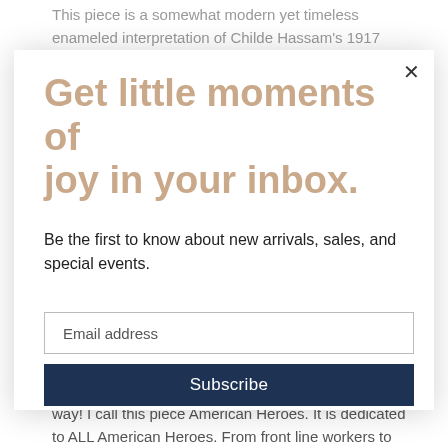This piece is a somewhat modern yet timeless enameled interpretation of Childe Hassam's 1917 painting "Avenue in the Rain". The original painting is
[Figure (screenshot): Email subscription modal overlay with close button (×), large italic-bold tan/beige heading 'Get little moments of joy in your inbox.', body text 'Be the first to know about new arrivals, sales, and special events.', an email address input field, and a dark navy 'Subscribe' button.]
way! I call this piece American Heroes. It is dedicated to ALL American Heroes. From front line workers to